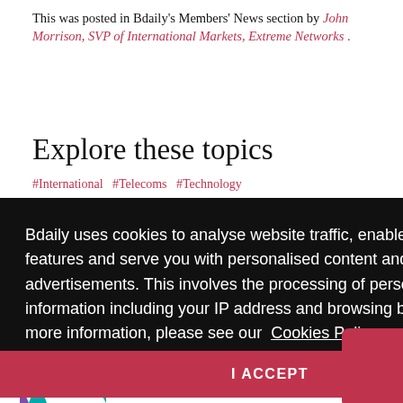This was posted in Bdaily's Members' News section by John Morrison, SVP of International Markets, Extreme Networks .
Explore these topics
#International  #Telecoms  #Technology
Bdaily uses cookies to analyse website traffic, enable social media features and serve you with personalised content and advertisements. This involves the processing of personal information including your IP address and browsing behaviour. For more information, please see our  Cookies Policy
I ACCEPT